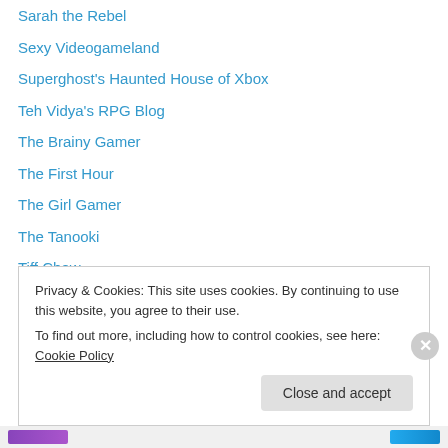Sarah the Rebel
Sexy Videogameland
Superghost's Haunted House of Xbox
Teh Vidya's RPG Blog
The Brainy Gamer
The First Hour
The Girl Gamer
The Tanooki
Tiff Chow
Verbal Spew
What They Play
Xbox 360 Achievements
Yelling at Pixels
Privacy & Cookies: This site uses cookies. By continuing to use this website, you agree to their use. To find out more, including how to control cookies, see here: Cookie Policy
Close and accept